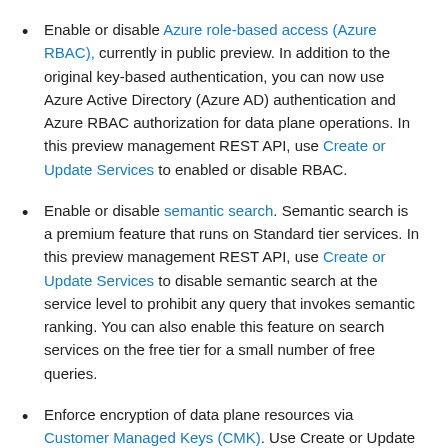Enable or disable Azure role-based access (Azure RBAC), currently in public preview. In addition to the original key-based authentication, you can now use Azure Active Directory (Azure AD) authentication and Azure RBAC authorization for data plane operations. In this preview management REST API, use Create or Update Services to enabled or disable RBAC.
Enable or disable semantic search. Semantic search is a premium feature that runs on Standard tier services. In this preview management REST API, use Create or Update Services to disable semantic search at the service level to prohibit any query that invokes semantic ranking. You can also enable this feature on search services on the free tier for a small number of free queries.
Enforce encryption of data plane resources via Customer Managed Keys (CMK). Use Create or Update...